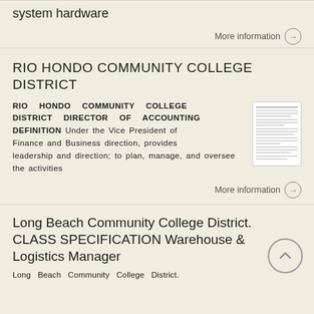system hardware
More information →
RIO HONDO COMMUNITY COLLEGE DISTRICT
RIO HONDO COMMUNITY COLLEGE DISTRICT DIRECTOR OF ACCOUNTING DEFINITION Under the Vice President of Finance and Business direction, provides leadership and direction; to plan, manage, and oversee the activities
More information →
Long Beach Community College District. CLASS SPECIFICATION Warehouse & Logistics Manager
Long Beach Community College District.